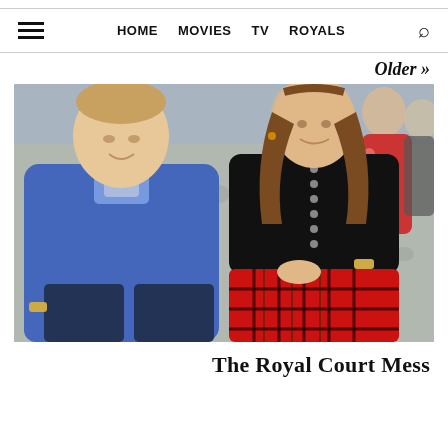HOME  MOVIES  TV  ROYALS
Older »
[Figure (photo): Prince William and Kate Middleton walking outdoors, William in a blue sweater, Kate in a black top and red tartan skirt, with people in the background]
The Royal Court Mess